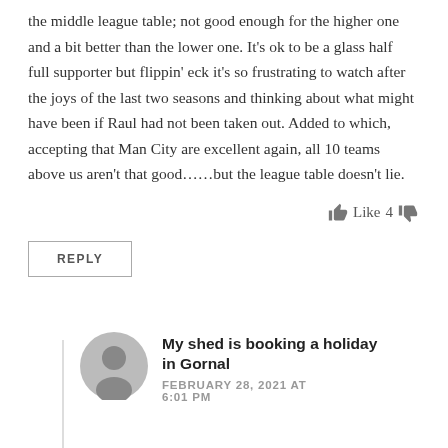the middle league table; not good enough for the higher one and a bit better than the lower one. It's ok to be a glass half full supporter but flippin' eck it's so frustrating to watch after the joys of the last two seasons and thinking about what might have been if Raul had not been taken out. Added to which, accepting that Man City are excellent again, all 10 teams above us aren't that good……but the league table doesn't lie.
Like 4
REPLY
[Figure (illustration): User avatar icon — grey circle with person silhouette]
My shed is booking a holiday in Gornal
FEBRUARY 28, 2021 AT 6:01 PM